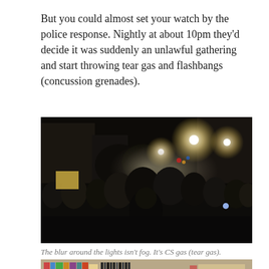But you could almost set your watch by the police response. Nightly at about 10pm they'd decide it was suddenly an unlawful gathering and start throwing tear gas and flashbangs (concussion grenades).
[Figure (photo): Night-time crowd scene of protesters in a dark street, with bright street lights above showing a hazy blur of CS tear gas in the air. Dense crowd of silhouetted people, some holding signs.]
The blur around the lights isn't fog. It's CS gas (tear gas).
[Figure (photo): Partial view of a bookstore or shop interior with shelves of books/media visible, and a decorative 'LOVE' sign in the upper right corner.]